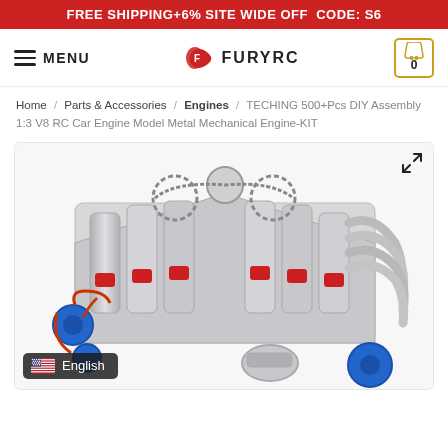FREE SHIPPING+6% SITE WIDE OFF  CODE: S6
MENU  FURYRC  0
Home / Parts & Accessories / Engines / TECHING 500+Pcs DIY Assembly 1:3 V8 RC Car Engine Model Metal Mechanical Engine-KIT
[Figure (photo): A detailed metal V8 RC car engine model (TECHING 500+Pcs DIY Assembly kit), showing chrome/silver pistons, red accents, blue pulleys and drive chains, and gear assemblies on a white background.]